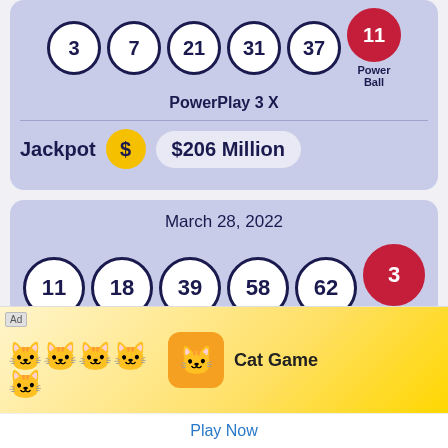[Figure (infographic): Top lottery card (partial) showing lottery balls 3,7,21,31,37 and red Powerball 11, PowerPlay 3X, Jackpot $206 Million]
[Figure (infographic): Lottery card for March 28, 2022 with balls 11,18,39,58,62 and red Powerball 3, PowerPlay 2X, Jackpot $105 Million]
[Figure (infographic): Ad overlay for Cat Game mobile app with Play Now button]